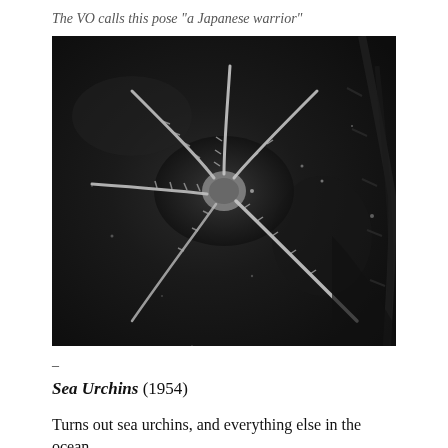The VO calls this pose “a Japanese warrior”
[Figure (photo): Black and white photograph of a sea urchin (or brittle star) with spiny arms spread out radially against a dark ocean floor background, resembling a warrior pose.]
–
Sea Urchins (1954)
Turns out sea urchins, and everything else in the ocean,